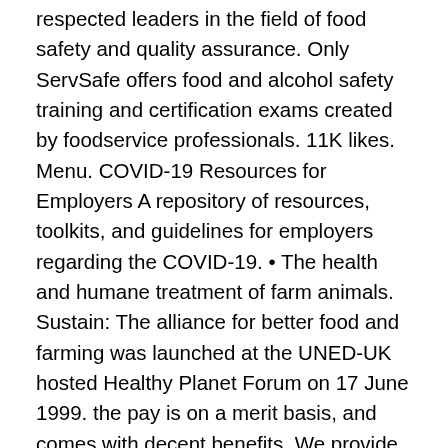respected leaders in the field of food safety and quality assurance. Only ServSafe offers food and alcohol safety training and certification exams created by foodservice professionals. 11K likes. Menu. COVID-19 Resources for Employers A repository of resources, toolkits, and guidelines for employers regarding the COVID-19. • The health and humane treatment of farm animals. Sustain: The alliance for better food and farming was launched at the UNED-UK hosted Healthy Planet Forum on 17 June 1999. the pay is on a merit basis, and comes with decent benefits. We provide food scheme certification audits, including: Check out our full list of accreditations and qualifications. It helps … $55.00. Food safety is a critical component of good farm management. 4301 Wilson Blvd., Suite 300 Safe Food Alliance will be partnering with the California Walnut Board to host six trainings in the spring of 2018 to train 500 additional walnut growers. NAMI Arizona FSAP is the Food Safety Alliance for Packaging, a technical committee of the Institute of Packaging Professionals. FSAP is a group of individuals from food